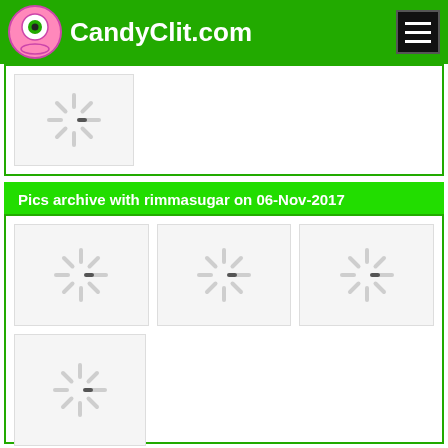CandyClit.com
[Figure (screenshot): Loading thumbnail placeholder in a white card]
Pics archive with rimmasugar on 06-Nov-2017
[Figure (screenshot): Gallery of 4 loading thumbnail placeholders in a white card]